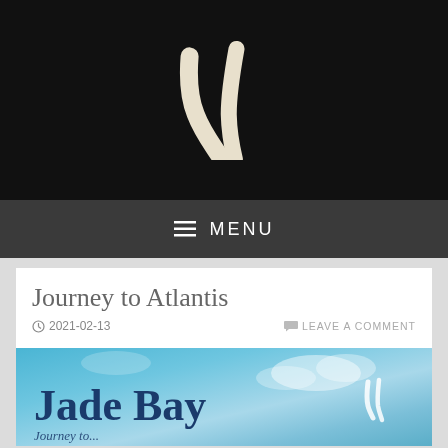[Figure (logo): White handwritten/brush-stroke logo mark resembling stylized 'H' or two strokes on black background]
≡ MENU
Journey to Atlantis
2021-02-13   LEAVE A COMMENT
[Figure (photo): Book cover image showing 'Jade Bay' title text in dark blue serif font against a blue sky background with clouds, with a small white logo mark in the lower right]